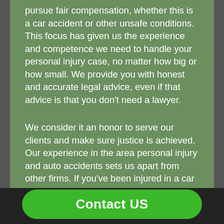pursue fair compensation, whether this is a car accident or other unsafe conditions. This focus has given us the experience and competence we need to handle your personal injury case, no matter how big or how small. We provide you with honest and accurate legal advice, even if that advice is that you don't need a lawyer.
We consider it an honor to serve our clients and make sure justice is achieved. Our experience in the area personal injury and auto accidents sets us apart from other firms. If you've been injured in a car accident, get an auto accident attorney for Mukilteo, WA, from the law office of Carter & Fulton, P.S. Call us to schedule a free consultation and to discuss your case at 425-258-3538.
Contact US